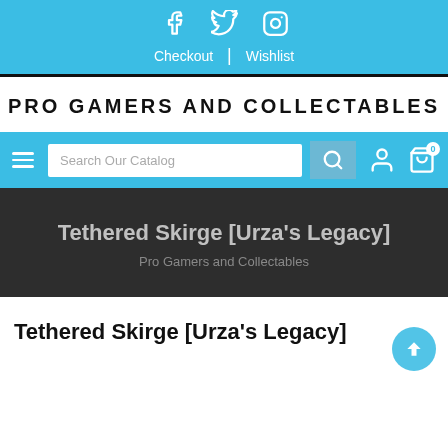[Figure (screenshot): Social media icons: Facebook, Twitter, Instagram on blue background]
Checkout | Wishlist
PRO GAMERS AND COLLECTABLES
[Figure (screenshot): Navigation bar with hamburger menu, Search Our Catalog input, search button, user icon, and cart icon with 0 badge]
Tethered Skirge [Urza's Legacy]
Pro Gamers and Collectables
Tethered Skirge [Urza's Legacy]